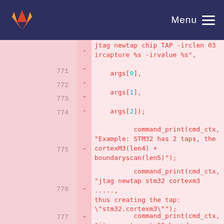GitLab — Menu
[Figure (screenshot): Code diff view showing lines 771-777 with removed lines (marked with -) containing C code for jtag newtap commands and command_print function calls]
771 - args[0],
772 - args[1],
773 - args[2]);
774 - command_print(cmd_ctx, "Example: STM32 has 2 taps, the cortexM3(len4) + boundaryscan(len5)");
775 - command_print(cmd_ctx, "jtag newtap stm32 cortexm3 ....., thus creating the tap: \"stm32.cortexm3\"");
776 - command_print(cmd_ctx, "jtag newtap stm32 boundary ....., and the tap: \"stm32.boundary\"");
777 - command_print(cmd_ctx, "And then refer to the taps by the